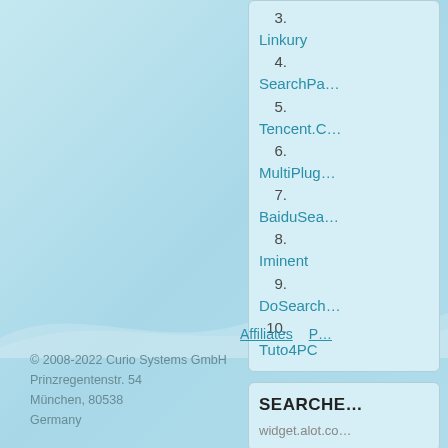3. Linkury
4. SearchPa...
5. Tencent.C...
6. MultiPlug...
7. BaiduSea...
8. Iminent
9. DoSearch...
10. Tuto4PC
SEARCHED
widget.alot.co...
Affiliates
© 2008-2022 Curio Systems GmbH
Prinzregentenstr. 54
München, 80538
Germany